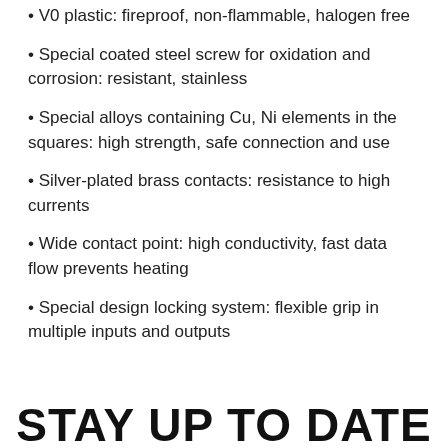V0 plastic: fireproof, non-flammable, halogen free
Special coated steel screw for oxidation and corrosion: resistant, stainless
Special alloys containing Cu, Ni elements in the squares: high strength, safe connection and use
Silver-plated brass contacts: resistance to high currents
Wide contact point: high conductivity, fast data flow prevents heating
Special design locking system: flexible grip in multiple inputs and outputs
STAY UP TO DATE